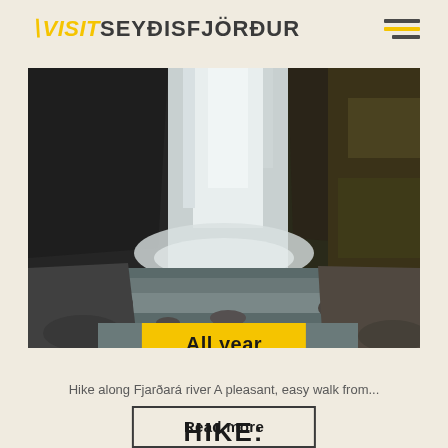VISIT SEYÐISFJÖRÐUR
[Figure (photo): A waterfall cascading down dark rocky cliffs into a river with rocks and mist, landscape nature photograph of Fjarðará river area in Seyðisfjörður, Iceland. Yellow badge overlay reading 'All year'.]
Hike along Fjarðará river A pleasant, easy walk from...
Read more
HIKE: